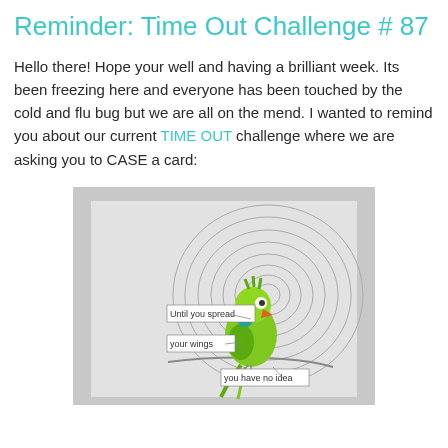Reminder: Time Out Challenge # 87
Hello there! Hope your well and having a brilliant week. Its been freezing here and everyone has been touched by the cold and flu bug but we are all on the mend. I wanted to remind you about our current TIME OUT challenge where we are asking you to CASE a card:
[Figure (photo): A handmade card showing a colorful green parrot/parakeet bird perched on a branch, set against a background of concentric wood-ring circles drawn in pencil/gray. The bird has an orange beak and green feathers. Three small text labels on the card read: 'Until you spread', 'your wings', 'you have no idea'.]